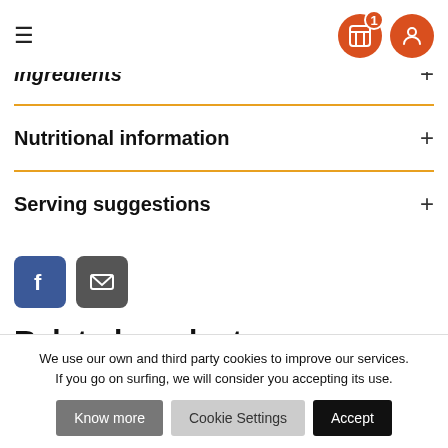Navigation header with hamburger menu and cart/account icons
Ingredients +
Nutritional information +
Serving suggestions +
[Figure (other): Facebook and email share buttons]
Related products
We use our own and third party cookies to improve our services. If you go on surfing, we will consider you accepting its use.
Know more | Cookie Settings | Accept